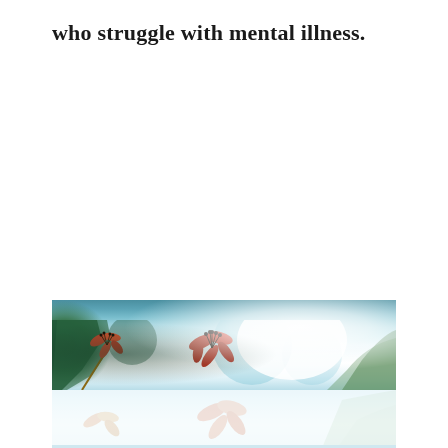who struggle with mental illness.
[Figure (photo): A nature photograph showing orange/red flowers with stamens in the foreground against a soft bokeh background of teal-blue sky and green foliage, with bright sunlight creating a hazy glow. The image is split across a page fold, with the top portion showing the flowers against the teal-blue bokeh background, and the bottom portion showing the flowers in a lighter, more washed-out appearance.]